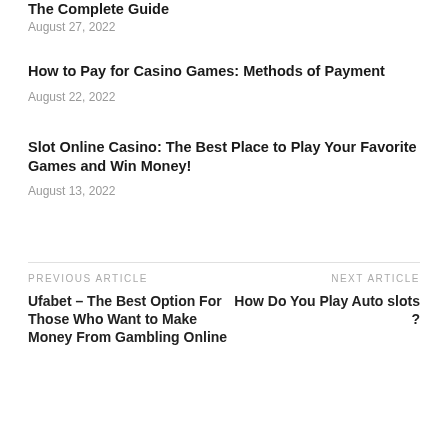The Complete Guide
August 27, 2022
How to Pay for Casino Games: Methods of Payment
August 22, 2022
Slot Online Casino: The Best Place to Play Your Favorite Games and Win Money!
August 13, 2022
PREVIOUS ARTICLE
Ufabet – The Best Option For Those Who Want to Make Money From Gambling Online
NEXT ARTICLE
How Do You Play Auto slots ?